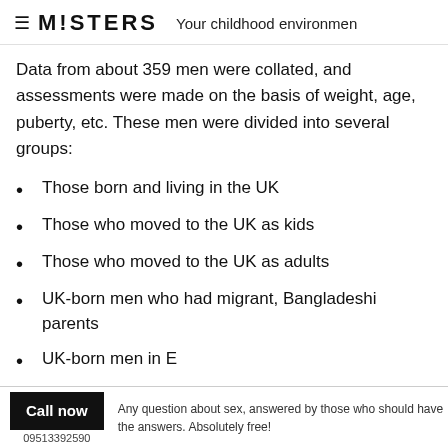M!STERS  Your childhood environmen
Data from about 359 men were collated, and assessments were made on the basis of weight, age, puberty, etc. These men were divided into several groups:
Those born and living in the UK
Those who moved to the UK as kids
Those who moved to the UK as adults
UK-born men who had migrant, Bangladeshi parents
Call now  09513392590  Any question about sex, answered by those who should have the answers. Absolutely free!